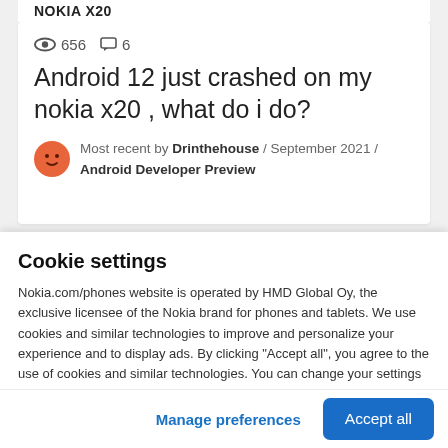NOKIA X20
656 views  6 comments
Android 12 just crashed on my nokia x20 , what do i do?
Most recent by Drinthehouse / September 2021 / Android Developer Preview
Cookie settings
Nokia.com/phones website is operated by HMD Global Oy, the exclusive licensee of the Nokia brand for phones and tablets. We use cookies and similar technologies to improve and personalize your experience and to display ads. By clicking "Accept all", you agree to the use of cookies and similar technologies. You can change your settings at any time by selecting "Cookie Settings" at the bottom of the site. Learn more about our cookie
Manage preferences
Accept all